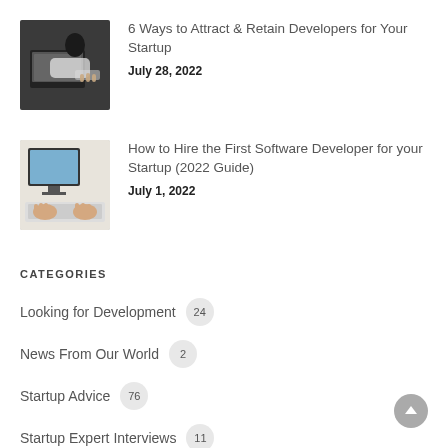[Figure (photo): Person working on laptop, dark hair, white sleeve, overhead angle]
6 Ways to Attract & Retain Developers for Your Startup
July 28, 2022
[Figure (photo): Person working at desktop computer with blue monitor, overhead angle]
How to Hire the First Software Developer for your Startup (2022 Guide)
July 1, 2022
CATEGORIES
Looking for Development  24
News From Our World  2
Startup Advice  76
Startup Expert Interviews  11